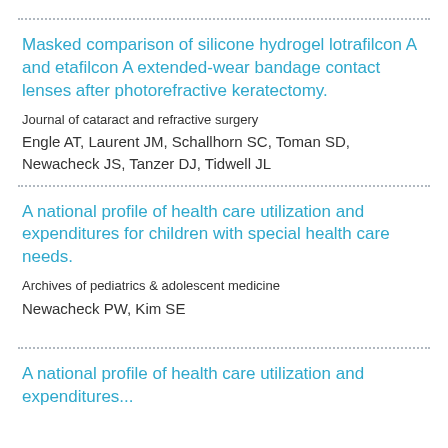Masked comparison of silicone hydrogel lotrafilcon A and etafilcon A extended-wear bandage contact lenses after photorefractive keratectomy.
Journal of cataract and refractive surgery
Engle AT, Laurent JM, Schallhorn SC, Toman SD, Newacheck JS, Tanzer DJ, Tidwell JL
A national profile of health care utilization and expenditures for children with special health care needs.
Archives of pediatrics & adolescent medicine
Newacheck PW, Kim SE
A national profile of health care utilization and expenditures...